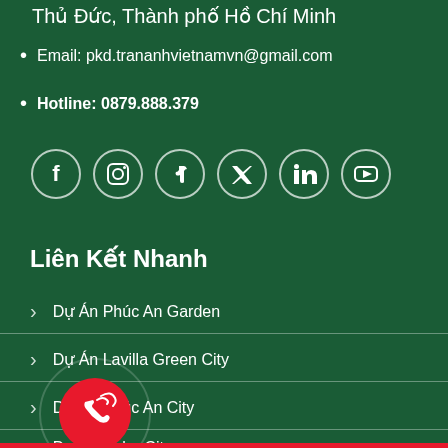Thủ Đức, Thành phố Hồ Chí Minh
Email: pkd.trananhvietnamvn@gmail.com
Hotline: 0879.888.379
[Figure (other): Social media icons: Facebook, Instagram, TikTok, Twitter, LinkedIn, YouTube — white outlined circles on dark green background]
Liên Kết Nhanh
Dự Án Phúc An Garden
Dự Án Lavilla Green City
Dự Án Phúc An City
Dự Án Solar City
[Figure (other): Red circular call button with phone/wifi icon, with a transparent ring around it]